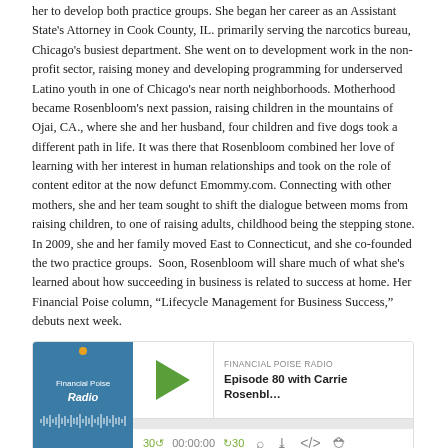her to develop both practice groups. She began her career as an Assistant State's Attorney in Cook County, IL. primarily serving the narcotics bureau, Chicago's busiest department. She went on to development work in the non-profit sector, raising money and developing programming for underserved Latino youth in one of Chicago's near north neighborhoods. Motherhood became Rosenbloom's next passion, raising children in the mountains of Ojai, CA., where she and her husband, four children and five dogs took a different path in life. It was there that Rosenbloom combined her love of learning with her interest in human relationships and took on the role of content editor at the now defunct Emommy.com. Connecting with other mothers, she and her team sought to shift the dialogue between moms from raising children, to one of raising adults, childhood being the stepping stone. In 2009, she and her family moved East to Connecticut, and she co-founded the two practice groups.  Soon, Rosenbloom will share much of what she's learned about how succeeding in business is related to success at home. Her Financial Poise column, “Lifecycle Management for Business Success,” debuts next week.
[Figure (screenshot): Financial Poise Radio podcast player widget showing Episode 80 with Carrie Rosenbloom, with play button, progress bar, time controls showing 00:00:00, and playback icons.]
Download this Episode